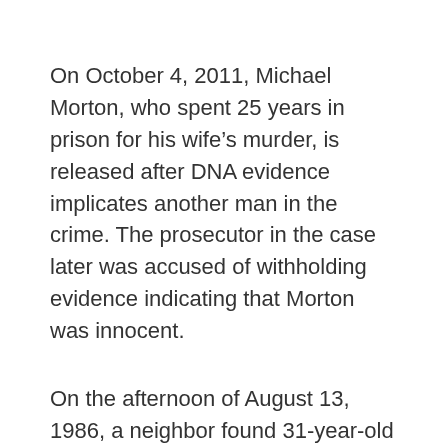On October 4, 2011, Michael Morton, who spent 25 years in prison for his wife’s murder, is released after DNA evidence implicates another man in the crime. The prosecutor in the case later was accused of withholding evidence indicating that Morton was innocent.
On the afternoon of August 13, 1986, a neighbor found 31-year-old Christine Morton beaten to death in her bed in the Williamson County, Texas, home (near Austin) she shared with Michael, a grocery